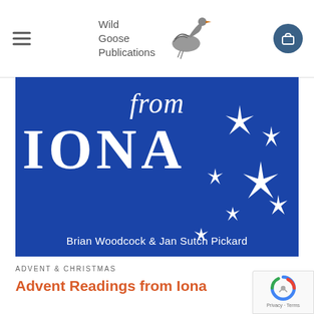Wild Goose Publications
[Figure (illustration): Book cover for 'Advent Readings from Iona' by Brian Woodcock & Jan Sutch Pickard. Deep blue background with large white text 'from Iona' and decorative white star/asterisk shapes scattered across the right side of the cover.]
ADVENT & CHRISTMAS
Advent Readings from Iona